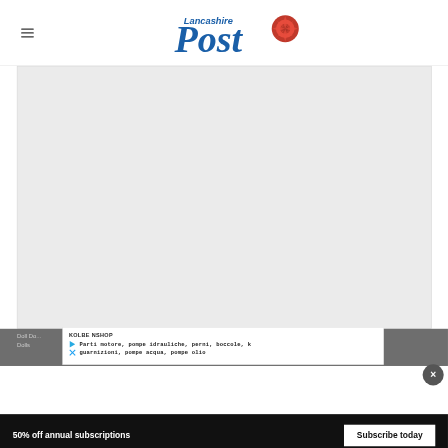[Figure (logo): Lancashire Post logo with blue 'Post' text and red rose graphic and 'Lancashire' text above]
[Figure (photo): Large blank/gray image placeholder area]
Doll Doll... cat Dolls
KOLBE NSHOP
Parti motore, pompe idrauliche, perni, boccole, k guarnizioni, pompe acqua, pompe olio
50% off annual subscriptions
Subscribe today